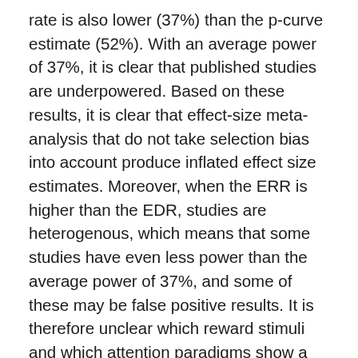rate is also lower (37%) than the p-curve estimate (52%). With an average power of 37%, it is clear that published studies are underpowered. Based on these results, it is clear that effect-size meta-analysis that do not take selection bias into account produce inflated effect size estimates. Moreover, when the ERR is higher than the EDR, studies are heterogenous, which means that some studies have even less power than the average power of 37%, and some of these may be false positive results. It is therefore unclear which reward stimuli and which attention paradigms show a theoretically significant effect and which do not. However, meta-analysts often falsely generalize an average effect to individual studies. For example, Rusz et al. (2020) concluded from their significant average effect size (d ~ .3) that high-reward stimuli impair cognitive performance “across different paradigms and across different reward cues” (p. 887). This conclusion is incorrect because they mean effect size is inflated and could be based on subsets of reward stimuli and paradigms. To demonstrate that a specific